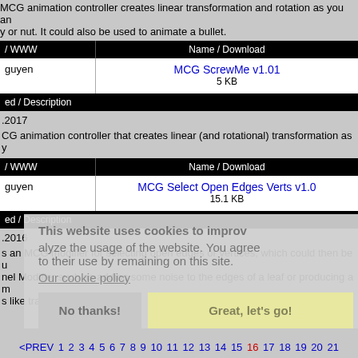MCG animation controller creates linear transformation and rotation as you animate a bolt, screw or nut. It could also be used to animate a bullet.
| / WWW | Name / Download |
| --- | --- |
| nguyen | MCG ScrewMe v1.01
5 KB |
| ed / Description |
| --- |
| 2017 |
MCG animation controller that creates linear (and rotational) transformation as y
| / WWW | Name / Download |
| --- | --- |
| nguyen | MCG Select Open Edges Verts v1.0
15.1 KB |
| ed / Description |
| --- |
| 2016 |
s an MCG modifier for selecting open edges or vertices, which could then be used with Channel Modifier such as adding some noise to the edges of a leaf or producing a mask with effects like transparency.
This website uses cookies to improve and analyze the usage of the website. You agree to their use by remaining on this site.
Our cookie policy
<PREV 1 2 3 4 5 6 7 8 9 10 11 12 13 14 15 16 17 18 19 20 21